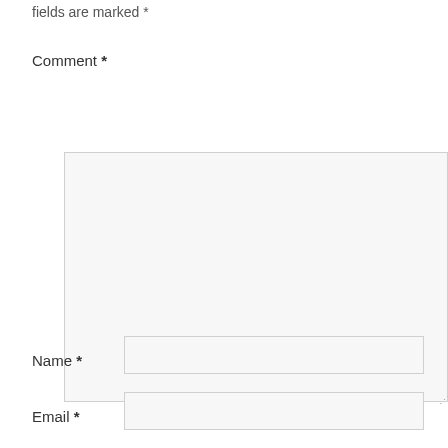fields are marked *
Comment *
[Figure (screenshot): Large empty textarea input field with light gray background and resize handle at bottom right]
Name *
[Figure (screenshot): Single-line text input field for Name with light gray background]
Email *
[Figure (screenshot): Single-line text input field for Email with light gray background]